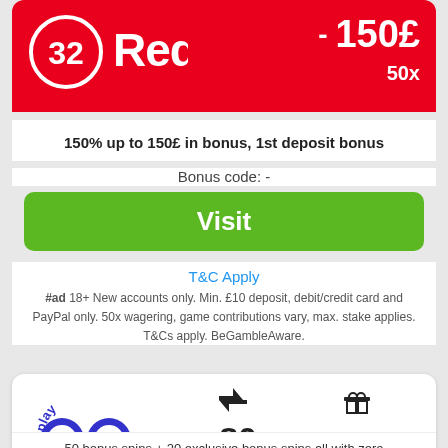[Figure (logo): 32Red casino logo in white on red background]
- 150£
50x
150% up to 150£ in bonus, 1st deposit bonus
Bonus code: -
Visit
T&C Apply
#ad 18+ New accounts only. Min. £10 deposit, debit/credit card and PayPal only. 50x wagering, game contributions vary, max. stake applies. T&Cs apply. BeGambleAware.
[Figure (logo): PlayOJO casino logo - feel the fun]
80  -
0x
50 bonus spins + 20 exclusive bonus spins all with zero